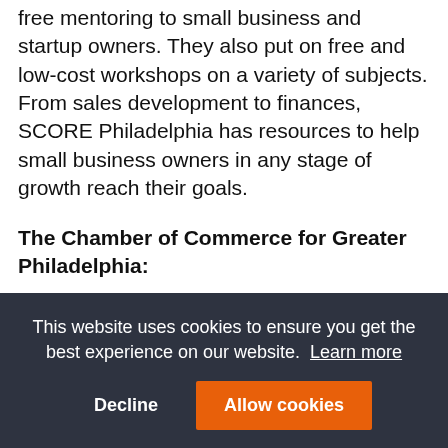free mentoring to small business and startup owners. They also put on free and low-cost workshops on a variety of subjects. From sales development to finances, SCORE Philadelphia has resources to help small business owners in any stage of growth reach their goals.
The Chamber of Commerce for Greater Philadelphia:
The Chamber of Commerce for Greater Philadelphia brings local businesses and civic leaders together for
This website uses cookies to ensure you get the best experience on our website. Learn more
Decline | Allow cookies